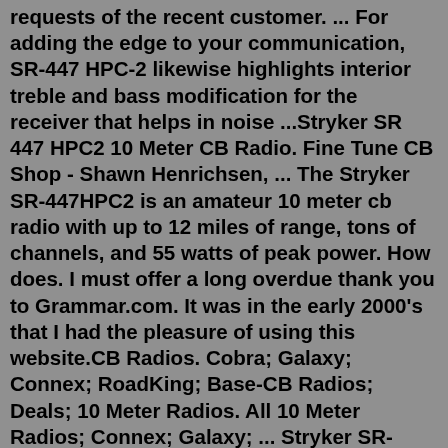requests of the recent customer. ... For adding the edge to your communication, SR-447 HPC-2 likewise highlights interior treble and bass modification for the receiver that helps in noise ...Stryker SR 447 HPC2 10 Meter CB Radio. Fine Tune CB Shop - Shawn Henrichsen, ... The Stryker SR-447HPC2 is an amateur 10 meter cb radio with up to 12 miles of range, tons of channels, and 55 watts of peak power. How does. I must offer a long overdue thank you to Grammar.com. It was in the early 2000's that I had the pleasure of using this website.CB Radios. Cobra; Galaxy; Connex; RoadKing; Base-CB Radios; Deals; 10 Meter Radios. All 10 Meter Radios; Connex; Galaxy; ... Stryker SR-447HP 7 Color 10 Meter Radio $ 0.00 Cart. ... Stryker SR-447HPC2 7 Color 10 Meter Radio $ 239.00 Select options; Radios Pronto is a proud USA company. Every order is greatly appreciated and we strive to provide ...Stryker SR 447 HPC2 10 Meter CB Radio. Fine Tune CB Shop - Shawn Henrichsen, ... The Stryker SR-447HPC2 is an amateur 10 meter cb radio with up to 12 miles of